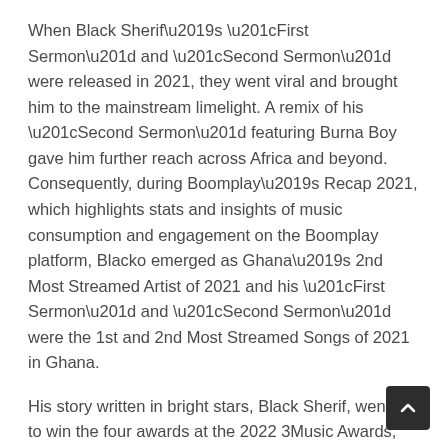When Black Sherif's “First Sermon” and “Second Sermon” were released in 2021, they went viral and brought him to the mainstream limelight. A remix of his “Second Sermon” featuring Burna Boy gave him further reach across Africa and beyond. Consequently, during Boomplay’s Recap 2021, which highlights stats and insights of music consumption and engagement on the Boomplay platform, Blacko emerged as Ghana’s 2nd Most Streamed Artist of 2021 and his “First Sermon” and “Second Sermon” were the 1st and 2nd Most Streamed Songs of 2021 in Ghana.
His story written in bright stars, Black Sherif, went on to win the four awards at the 2022 3Music Awards, held in March 2022, including the Boomplay Breakthrough Act of the Year. At the same event, he debuted a spectacular performance of his latest single, “Kwaku the Traveller”. The song skyrocketed him to African stardom and peaked at NO.1 on both Boomplay Ghana and Nigeria charts.